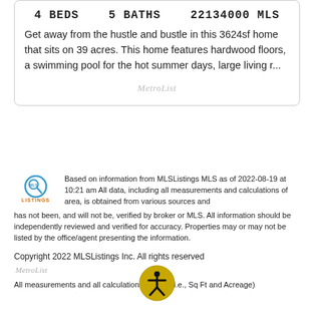4 BEDS  5 BATHS  22134000 MLS
Get away from the hustle and bustle in this 3624sf home that sits on 39 acres. This home features hardwood floors, a swimming pool for the hot summer days, large living r...
[Figure (logo): MetroList watermark logo in gray italic text]
[Figure (logo): MLSListings logo with blue and orange circular icon and text]
Based on information from MLSListings MLS as of 2022-08-19 at 10:21 am All data, including all measurements and calculations of area, is obtained from various sources and has not been, and will not be, verified by broker or MLS. All information should be independently reviewed and verified for accuracy. Properties may or may not be listed by the office/agent presenting the information.
Copyright 2022 MLSListings Inc. All rights reserved
[Figure (logo): MetroList small logo in gray italic]
All measurements and all calculations of area (i.e., Sq Ft and Acreage)
[Figure (other): Accessibility icon — yellow circle with black stick figure person]